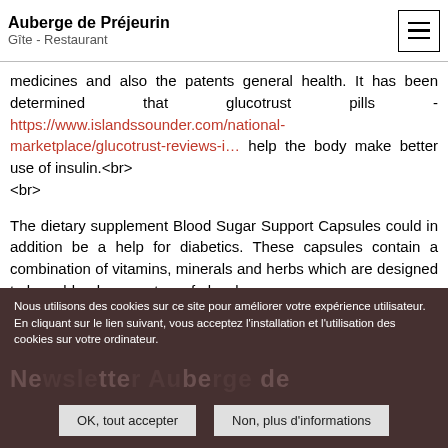Auberge de Préjeurin | Gîte - Restaurant
insulin ... several factors that add the stretch of time becoming a diabetic, blood glucose level, current medicines and also the patents general health. It has been determined that glucotrust pills - https://www.islandssounder.com/national-marketplace/glucotrust-reviews-i… help the body make better use of insulin.<br><br>The dietary supplement Blood Sugar Support Capsules could in addition be a help for diabetics. These capsules contain a combination of vitamins, minerals and herbs which are designed to keep blood sugar at a safe level.
Newsletter Auberge de Préjeurin
Nous utilisons des cookies sur ce site pour améliorer votre expérience utilisateur. En cliquant sur le lien suivant, vous acceptez l'installation et l'utilisation des cookies sur votre ordinateur.
OK, tout accepter | Non, plus d'informations